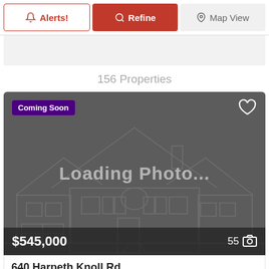Alerts! | Refine | Map View
156 Properties
[Figure (screenshot): Real estate listing card showing a property with 'Coming Soon' badge, 'Loading Photo...' placeholder with house outline illustration, price $545,000, and 55 photos indicator]
640 Harpeth Knoll Rd